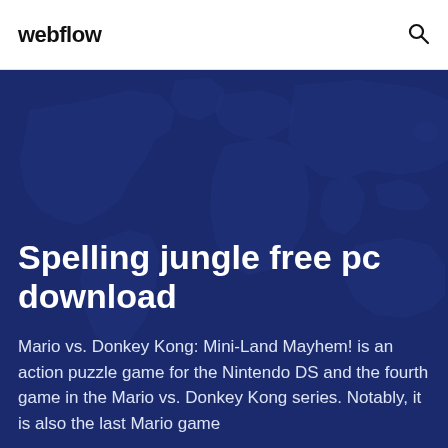webflow
Spelling jungle free pc download
Mario vs. Donkey Kong: Mini-Land Mayhem! is an action puzzle game for the Nintendo DS and the fourth game in the Mario vs. Donkey Kong series. Notably, it is also the last Mario game